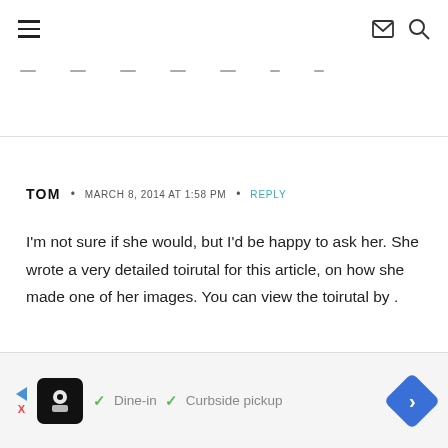navigation header with hamburger menu, mail icon, search icon
— — — — — ..
TOM • MARCH 8, 2014 AT 1:58 PM • REPLY
I'm not sure if she would, but I'd be happy to ask her. She wrote a very detailed toirutal for this article, on how she made one of her images. You can view the toirutal by .
[Figure (other): Advertisement bar with logo, checkmarks for Dine-in and Curbside pickup, navigation diamond arrow]